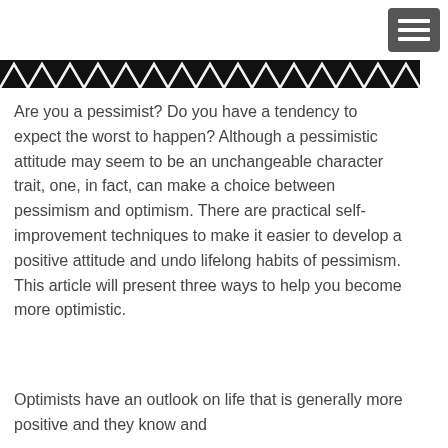[Figure (other): Hamburger menu button icon with three white horizontal bars on a dark gray/charcoal background, rounded rectangle shape, positioned top-right corner]
[Figure (other): Zigzag/chevron decorative strip banner in black and white, spanning most of the page width]
Are you a pessimist? Do you have a tendency to expect the worst to happen? Although a pessimistic attitude may seem to be an unchangeable character trait, one, in fact, can make a choice between pessimism and optimism. There are practical self-improvement techniques to make it easier to develop a positive attitude and undo lifelong habits of pessimism. This article will present three ways to help you become more optimistic.
Optimists have an outlook on life that is generally more positive and they know and